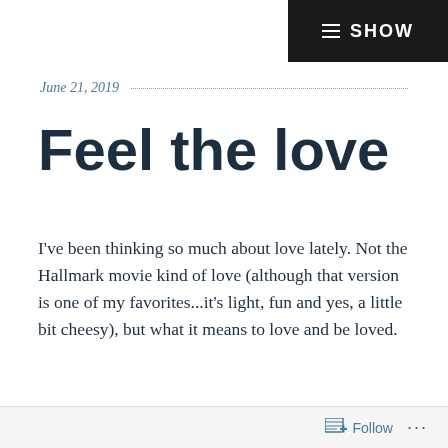SHOW
June 21, 2019
Feel the love
I've been thinking so much about love lately. Not the Hallmark movie kind of love (although that version is one of my favorites...it's light, fun and yes, a little bit cheesy), but what it means to love and be loved.
Because I've learned something over the past
Follow ...